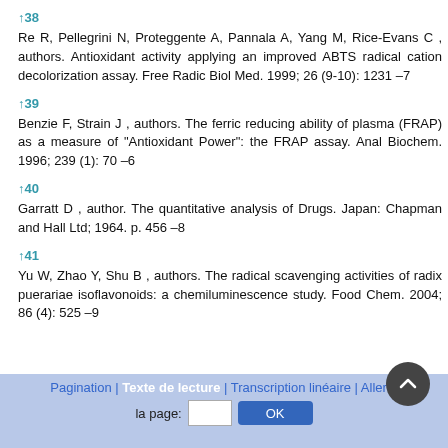↑38
Re R, Pellegrini N, Proteggente A, Pannala A, Yang M, Rice-Evans C , authors. Antioxidant activity applying an improved ABTS radical cation decolorization assay. Free Radic Biol Med. 1999; 26 (9-10): 1231 –7
↑39
Benzie F, Strain J , authors. The ferric reducing ability of plasma (FRAP) as a measure of "Antioxidant Power": the FRAP assay. Anal Biochem. 1996; 239 (1): 70 –6
↑40
Garratt D , author. The quantitative analysis of Drugs. Japan: Chapman and Hall Ltd; 1964. p. 456 –8
↑41
Yu W, Zhao Y, Shu B , authors. The radical scavenging activities of radix puerariae isoflavonoids: a chemiluminescence study. Food Chem. 2004; 86 (4): 525 –9
Pagination | Texte de lecture | Transcription linéaire | Aller à la page: [input] OK